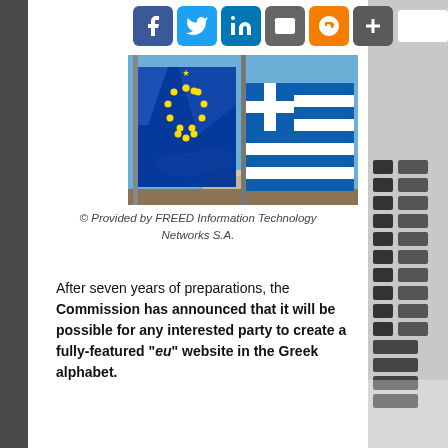[Figure (other): Social media share icons: Facebook, Twitter, LinkedIn, Email, Blogger, plus button, and a search bar]
[Figure (photo): Photograph of the European Union flag (blue with yellow stars) and the Greek flag (blue and white stripes with cross), flying side by side against a blue sky with the Acropolis visible in the background]
© Provided by FREED Information Technology Networks S.A.
After seven years of preparations, the Commission has announced that it will be possible for any interested party to create a fully-featured ".eu" website in the Greek alphabet.